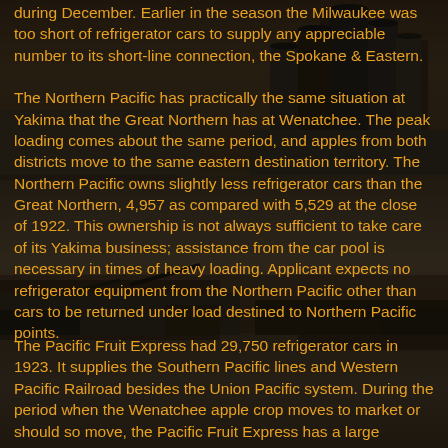during December. Earlier in the season the Milwaukee was too short of refrigerator cars to supply any appreciable number to its short-line connection, the Spokane & Eastern.
[Figure (photo): Black and white photograph of grain elevators and industrial storage silos with associated buildings, likely a railroad freight facility.]
The Northern Pacific has practically the same situation at Yakima that the Great Northern has at Wenatchee. The peak loading comes about the same period, and apples from both districts move to the same eastern destination territory. The Northern Pacific owns slightly less refrigerator cars than the Great Northern, 4,957 as compared with 5,529 at the close of 1922. This ownership is not always sufficient to take care of its Yakima business; assistance from the car pool is necessary in times of heavy loading. Applicant expects no refrigerator equipment from the Northern Pacific other than cars to be returned under load destined to Northern Pacific points.
[Figure (photo): Black and white photograph of a railroad loading facility with buildings and storage structures in the foreground.]
The Pacific Fruit Express had 29,750 refrigerator cars in 1923. It supplies the Southern Pacific lines and Western Pacific Railroad besides the Union Pacific system. During the period when the Wenatchee apple crop moves to market or should so move, the Pacific Fruit Express has a large